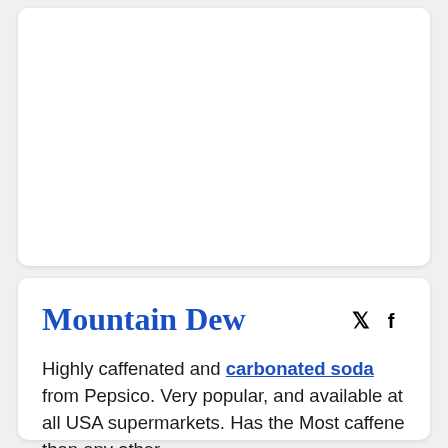[Figure (other): Empty white card area at top of page]
Mountain Dew
Highly caffenated and carbonated soda from Pepsico. Very popular, and available at all USA supermarkets. Has the Most caffene than any other